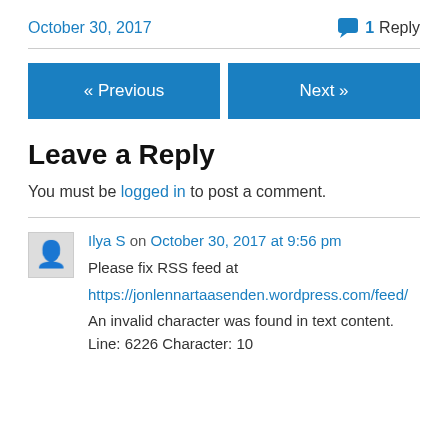October 30, 2017
💬 1 Reply
« Previous
Next »
Leave a Reply
You must be logged in to post a comment.
Ilya S on October 30, 2017 at 9:56 pm
Please fix RSS feed at https://jonlennartaasenden.wordpress.com/feed/ An invalid character was found in text content. Line: 6226 Character: 10